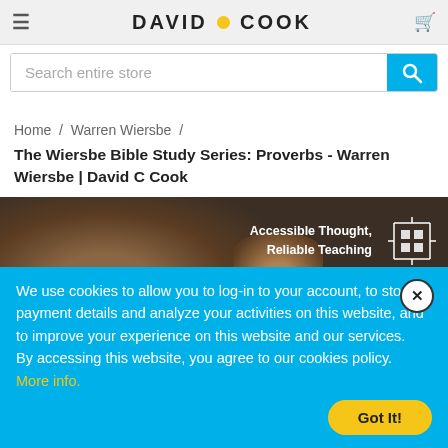DAVID COOK
Search entire store
Home / Warren Wiersbe /
The Wiersbe Bible Study Series: Proverbs - Warren Wiersbe | David C Cook
[Figure (photo): Banner image showing hands with text 'Accessible Thought, Reliable Teaching' and a grid icon on dark background]
We use cookies to allow you to log-in to your account, to store payment details and analyze your activities on this website, and to improve your experience on this website and our services. By accessing this website, you agree to our cookies policy. More info.
Got It!